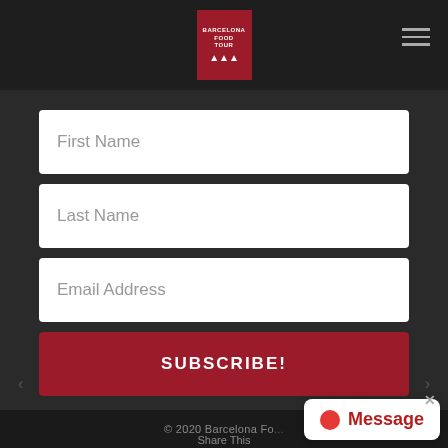[Figure (logo): Barcelona Food Tour logo — red rectangle with white text and building silhouette icon]
First Name
Last Name
Email Address
SUBSCRIBE!
© 2020 Barcelona Fo...
Share This
[Figure (infographic): Message chat bubble widget with red circle dot and 'Message' label in red text on white background]